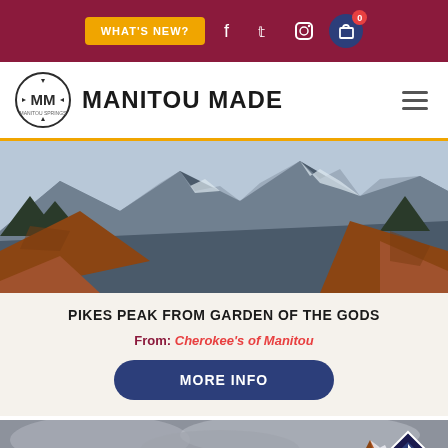WHAT'S NEW? [nav bar with social icons and cart]
[Figure (logo): Manitou Made logo with MM circle emblem and hamburger menu]
[Figure (photo): Pikes Peak viewed through red rock formations at Garden of the Gods, snow-capped mountains]
PIKES PEAK FROM GARDEN OF THE GODS
From: Cherokee's of Manitou
MORE INFO
[Figure (photo): Winter scene at Garden of the Gods with dramatic rock spires under cloudy sky, snow-covered ground, accessibility icon and navigation arrow overlay]